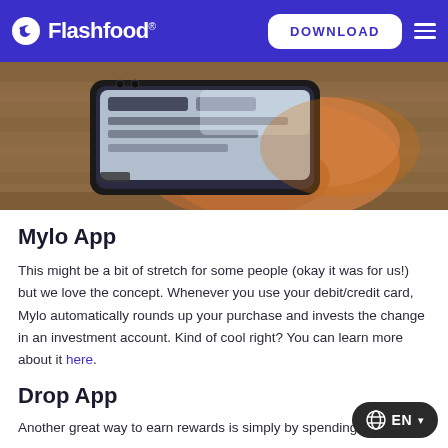Flashfood — DOWNLOAD
[Figure (photo): Hand holding a smartphone on a wooden surface, phone screen visible with app interface]
Mylo App
This might be a bit of stretch for some people (okay it was for us!) but we love the concept. Whenever you use your debit/credit card, Mylo automatically rounds up your purchase and invests the change in an investment account. Kind of cool right? You can learn more about it here.
Drop App
Another great way to earn rewards is simply by spending - what